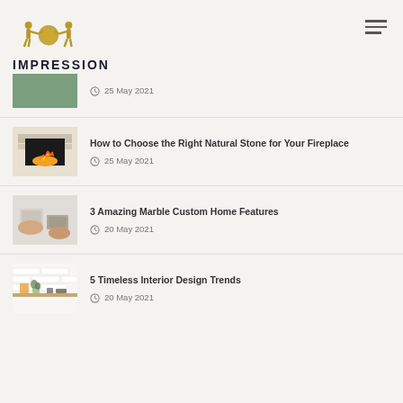[Figure (logo): Impression logo with two figures holding a circular emblem, gold color, with text IMPRESSION below]
25 May 2021
How to Choose the Right Natural Stone for Your Fireplace
25 May 2021
3 Amazing Marble Custom Home Features
20 May 2021
5 Timeless Interior Design Trends
20 May 2021